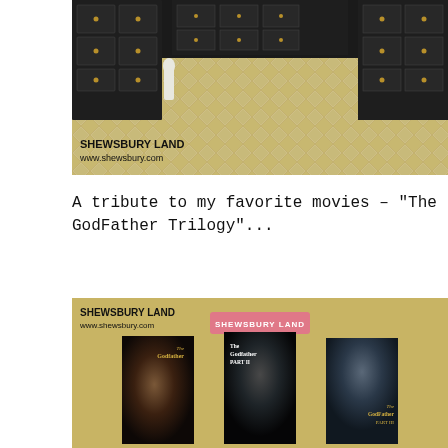[Figure (photo): Photo of a miniature dollhouse room scene with black dressers/cabinets along the walls, a white figurine statue on the left, and a diamond-patterned floor. Watermark reads SHEWSBURY LAND / www.shewsbury.com]
A tribute to my favorite movies – "The GodFather Trilogy"...
[Figure (photo): Photo showing three miniature Godfather movie poster replicas displayed on a tan/cardboard background. A pink label reading SHEWSBURY LAND is in the center top area. The three posters show The Godfather (Part I, Marlon Brando), The Godfather Part II, and The Godfather Part III. Watermark reads SHEWSBURY LAND / www.shewsbury.com]